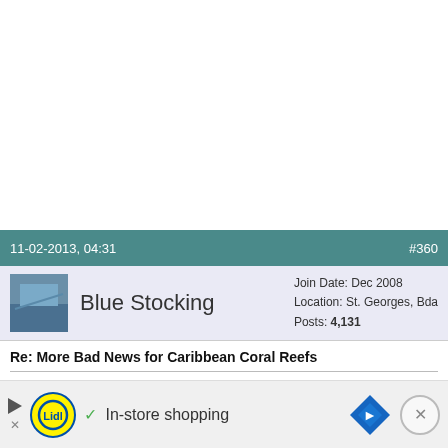11-02-2013, 04:31   #360
Blue Stocking   Join Date: Dec 2008   Location: St. Georges, Bda   Posts: 4,131
Re: More Bad News for Caribbean Coral Reefs
Quote:
Originally Posted by Don Lucas
I'll ea...
[Figure (screenshot): Lidl in-store shopping advertisement banner at bottom of screen with play button, Lidl logo, checkmark, text 'In-store shopping', navigation diamond icon, and close button]